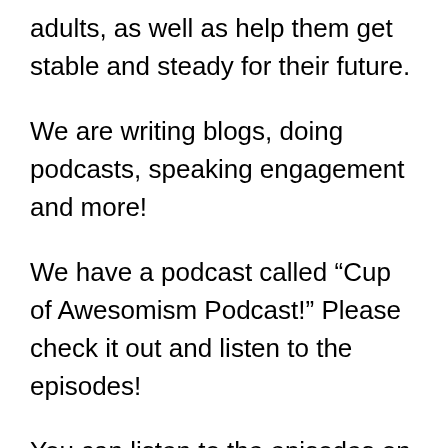adults, as well as help them get stable and steady for their future.
We are writing blogs, doing podcasts, speaking engagement and more!
We have a podcast called “Cup of Awesomism Podcast!” Please check it out and listen to the episodes!
You can listen to the episodes on platforms including Anchor, Spotify, Apple Podcasts